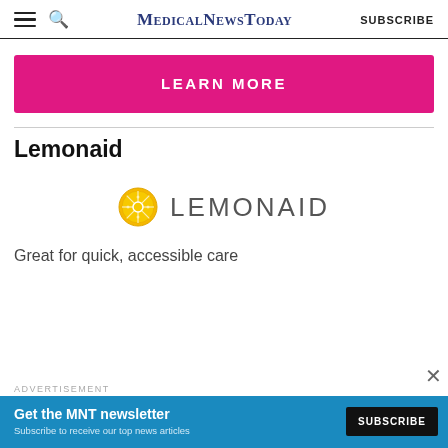MedicalNewsToday SUBSCRIBE
[Figure (other): Pink 'LEARN MORE' button/banner]
Lemonaid
[Figure (logo): Lemonaid logo with lemon slice icon and text LEMONAID]
Great for quick, accessible care
[Figure (other): Advertisement banner: Get the MNT newsletter - Subscribe to receive our top news articles - SUBSCRIBE button]
ADVERTISEMENT